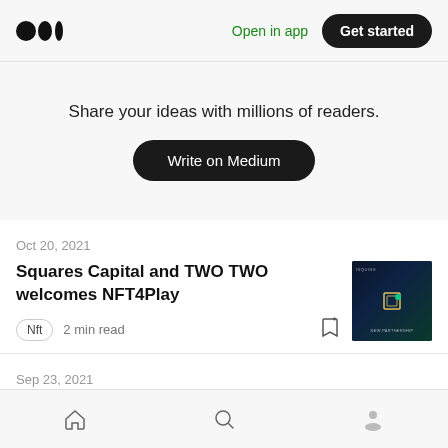Medium logo | Open in app | Get started
Share your ideas with millions of readers.
Write on Medium
Oct 20, 2021
Squares Capital and TWO TWO welcomes NFT4Play
Nft  2 min read
Sep 23, 2021
Home | Search | Profile